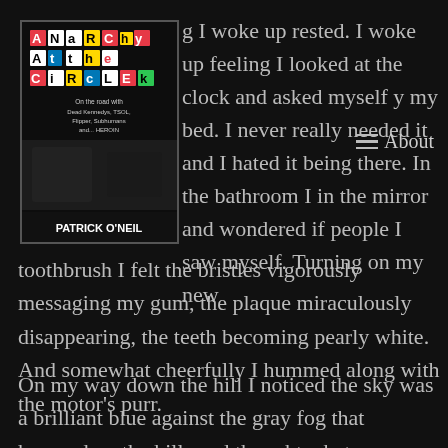[Figure (illustration): Book cover of 'Anarchy at the Circle K' by Patrick O'Neil. Cut-out ransom-style letter title in colorful text on black background with subtitle 'On the road with Dead Kennedys, TSOL, Flipper, Subhumans and... HEROIN']
g I woke up rested. I woke up feeling I looked at the clock and asked myself y my bed. I never really needed it and I hated it being there. In the bathroom I in the mirror and wondered if people I saw myself. Turning on my new toothbrush I felt the bristles vigorously messaging my gum, the plaque miraculously disappearing, the teeth becoming pearly white. And somewhat cheerfully I hummed along with the motor's purr.
On my way down the hill I noticed the sky was a brilliant blue against the gray fog that hovered on the hills and thought what a beautiful place it is that I live in. When I got to the café I said hi to the artist guy in